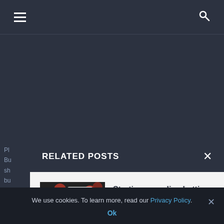≡  [search icon]
Pl
Bu
sh
bu
iss
on
RELATED POSTS
[Figure (photo): Playing cards (aces) on casino chips and keyboard]
Starting an online betting business
January 18, 2022
[Figure (photo): Black dice on a surface]
How are betting odds calculated?
We use cookies. To learn more, read our Privacy Policy.
Ok